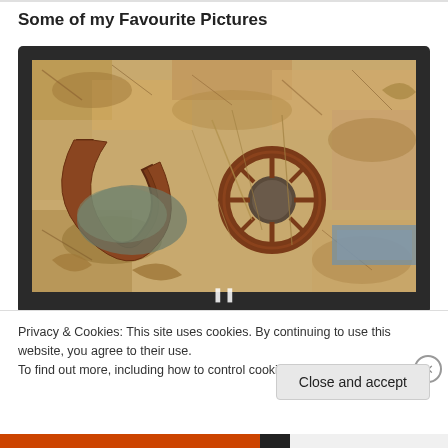Some of my Favourite Pictures
[Figure (photo): A close-up photo of rusty metal horseshoe-shaped objects and a circular gear/wheel partially buried among dried brown leaves and debris on the ground.]
Privacy & Cookies: This site uses cookies. By continuing to use this website, you agree to their use.
To find out more, including how to control cookies, see here: Cookie Policy